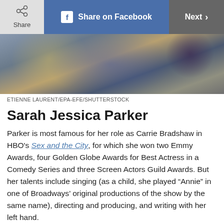Share | Share on Facebook | Next >
[Figure (photo): Photo of Sarah Jessica Parker and another person, colorful clothing, blonde hair]
ETIENNE LAURENT/EPA-EFE/SHUTTERSTOCK
Sarah Jessica Parker
Parker is most famous for her role as Carrie Bradshaw in HBO's Sex and the City, for which she won two Emmy Awards, four Golden Globe Awards for Best Actress in a Comedy Series and three Screen Actors Guild Awards. But her talents include singing (as a child, she played “Annie” in one of Broadways’ original productions of the show by the same name), directing and producing, and writing with her left hand.